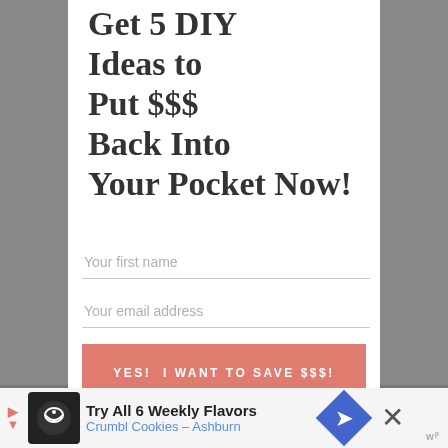Get 5 DIY Ideas to Put $$$ Back Into Your Pocket Now!
Your first name
Your email address
YES!  I WANT TO SAVE $$$!
[Figure (infographic): Bottom advertisement banner for Crumbl Cookies - Ashburn, reading 'Try All 6 Weekly Flavors Crumbl Cookies - Ashburn' with cookie logo, navigation arrow icon, close X button]